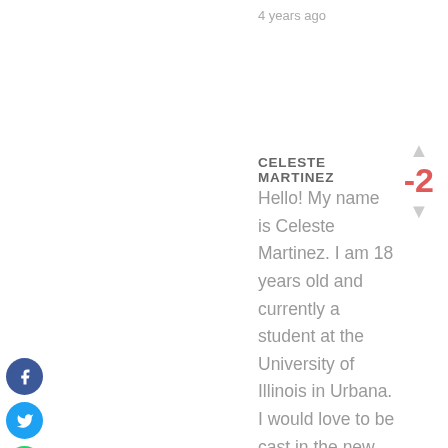4 years ago
CELESTE MARTINEZ
Hello! My name is Celeste Martinez. I am 18 years old and currently a student at the University of Illinois in Urbana. I would love to be cast in the new AE web series because I am passionate about the message that AE is trying to convey. There is beauty in diversity and in being true to oneself. AE's AerieReal campaign especially shows this, which is why I am particularly interested in being a part of it. I